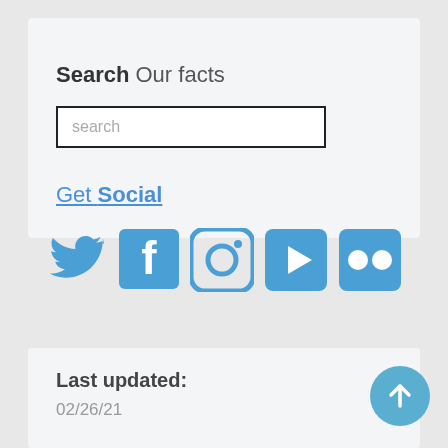Search Our facts
search
Get Social
[Figure (illustration): Social media icons: Twitter (bird), Facebook (f), Instagram (camera), YouTube (play button), Flickr (two dots) — all in blue]
Last updated:
02/26/21